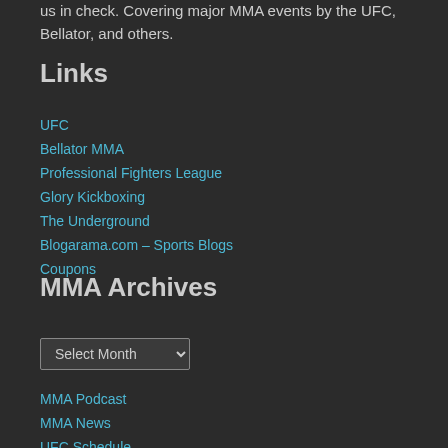us in check. Covering major MMA events by the UFC, Bellator, and others.
Links
UFC
Bellator MMA
Professional Fighters League
Glory Kickboxing
The Underground
Blogarama.com – Sports Blogs
Coupons
MMA Archives
Select Month
MMA Podcast
MMA News
UFC Schedule